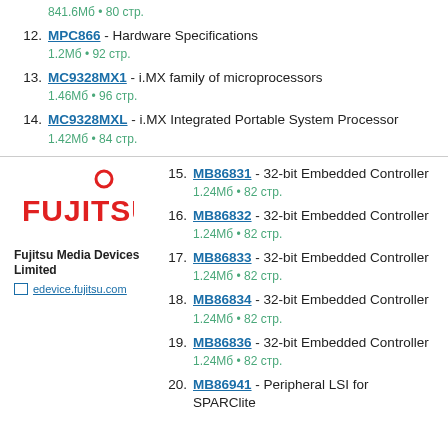841.6Мб • 80 стр.
12. MPC866 - Hardware Specifications
1.2Мб • 92 стр.
13. MC9328MX1 - i.MX family of microprocessors
1.46Мб • 96 стр.
14. MC9328MXL - i.MX Integrated Portable System Processor
1.42Мб • 84 стр.
[Figure (logo): Fujitsu logo in red with stylized text]
Fujitsu Media Devices Limited
edevice.fujitsu.com
15. MB86831 - 32-bit Embedded Controller
1.24Мб • 82 стр.
16. MB86832 - 32-bit Embedded Controller
1.24Мб • 82 стр.
17. MB86833 - 32-bit Embedded Controller
1.24Мб • 82 стр.
18. MB86834 - 32-bit Embedded Controller
1.24Мб • 82 стр.
19. MB86836 - 32-bit Embedded Controller
1.24Мб • 82 стр.
20. MB86941 - Peripheral LSI for SPARClite